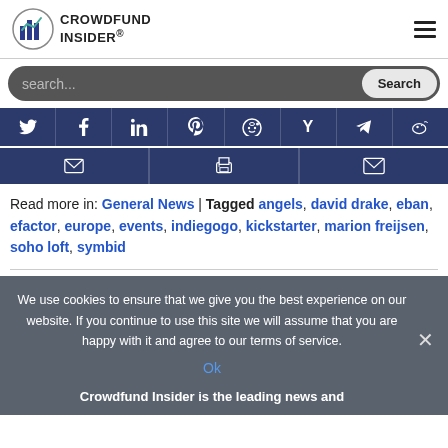Crowdfund Insider
[Figure (logo): Crowdfund Insider logo with bar chart icon]
Read more in: General News | Tagged angels, david drake, eban, efactor, europe, events, indiegogo, kickstarter, marion freijsen, soho loft, symbid
We use cookies to ensure that we give you the best experience on our website. If you continue to use this site we will assume that you are happy with it and agree to our terms of service.
Ok
Crowdfund Insider is the leading news and